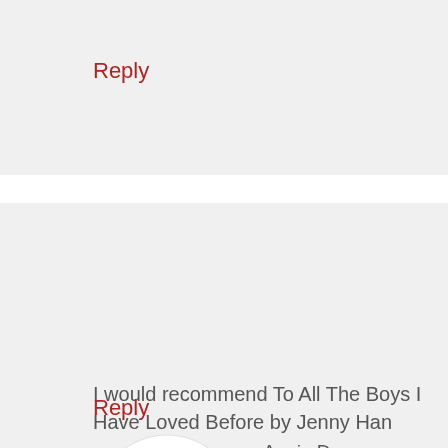Reply
[Figure (illustration): Sad green emoji face with glasses, set in a dark brown circular frame, on a light gray background]
Angie D says June 6, 2015 at 2:31 pm
I would recommend To All The Boys I Have Loved Before by Jenny Han
Reply